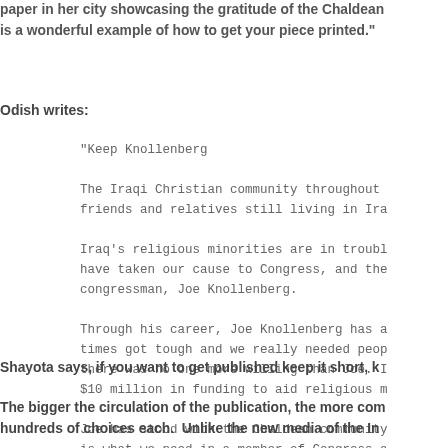paper in her city showcasing the gratitude of the Chaldean is a wonderful example of how to get your piece printed."
Odish writes:
"Keep Knollenberg

The Iraqi Christian community throughout friends and relatives still living in Ira

Iraq's religious minorities are in troubl have taken our cause to Congress, and the congressman, Joe Knollenberg.

Through his career, Joe Knollenberg has a times got tough and we really needed peop there was no one more willing than Joe. I $10 million in funding to aid religious m

Joe has stood with the Chaldean community is what we need in a member of Congress a elected in November."
Shayota says, if you want to get published keep it short, k
The bigger the circulation of the publication, the more com hundreds of choices each.  Unlike the new media of the In